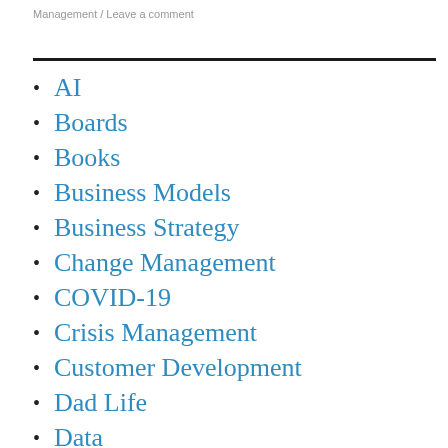Management / Leave a comment
AI
Boards
Books
Business Models
Business Strategy
Change Management
COVID-19
Crisis Management
Customer Development
Dad Life
Data
Digital
Disruptive Technologies